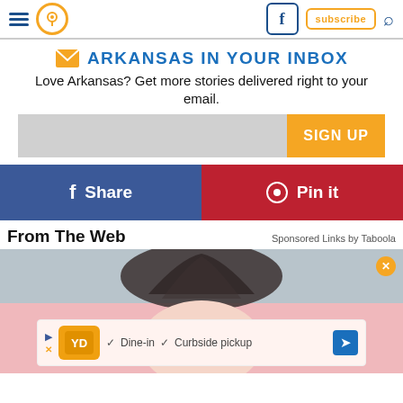Navigation header with hamburger menu, location icon, Facebook, subscribe, and search
ARKANSAS IN YOUR INBOX
Love Arkansas? Get more stories delivered right to your email.
SIGN UP
f Share
Pin it
From The Web
Sponsored Links by Taboola
[Figure (photo): Woman's face partially visible, dark hair on top, pink background]
[Figure (infographic): Advertisement banner: Dine-in, Curbside pickup options with logo and navigation arrow]